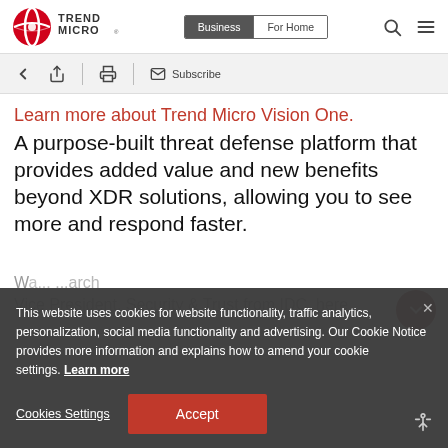[Figure (logo): Trend Micro logo - red swirl icon with TREND MICRO text]
[Figure (screenshot): Navigation bar with Business and For Home tabs, search and menu icons]
[Figure (screenshot): Toolbar with back, share, print icons and Subscribe button]
Learn more about Trend Micro Vision One. A purpose-built threat defense platform that provides added value and new benefits beyond XDR solutions, allowing you to see more and respond faster.
This website uses cookies for website functionality, traffic analytics, personalization, social media functionality and advertising. Our Cookie Notice provides more information and explains how to amend your cookie settings. Learn more
Cookies Settings
Accept